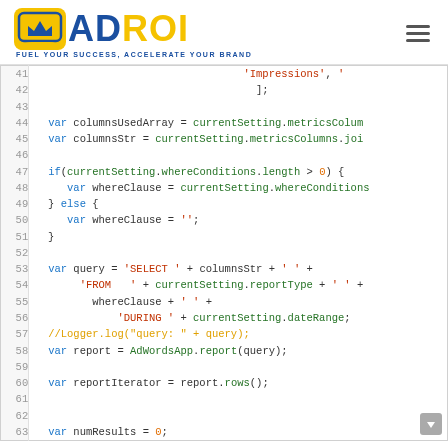ADROI - FUEL YOUR SUCCESS, ACCELERATE YOUR BRAND
[Figure (screenshot): Code editor screenshot showing JavaScript code lines 41-63 with syntax highlighting. Lines include array literals, variable declarations with currentSetting.metricsColumns, whereConditions logic, query string construction with SELECT/FROM/DURING, AdWordsApp.report call, and numResults initialization.]